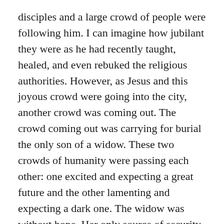disciples and a large crowd of people were following him. I can imagine how jubilant they were as he had recently taught, healed, and even rebuked the religious authorities. However, as Jesus and this joyous crowd were going into the city, another crowd was coming out. The crowd coming out was carrying for burial the only son of a widow. These two crowds of humanity were passing each other: one excited and expecting a great future and the other lamenting and expecting a dark one. The widow was without hope. Her only source of security and place was dead.
During the Awakenings conference, I was